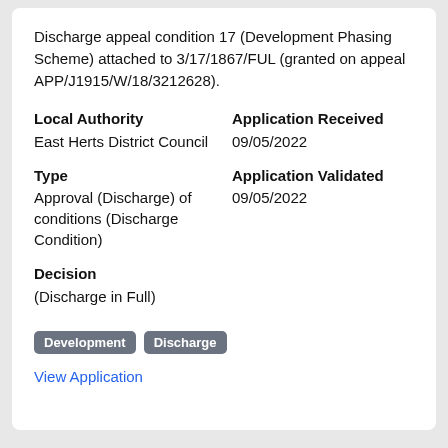Discharge appeal condition 17 (Development Phasing Scheme) attached to 3/17/1867/FUL (granted on appeal APP/J1915/W/18/3212628).
Local Authority
East Herts District Council
Application Received
09/05/2022
Type
Approval (Discharge) of conditions (Discharge Condition)
Application Validated
09/05/2022
Decision
(Discharge in Full)
Development   Discharge
View Application